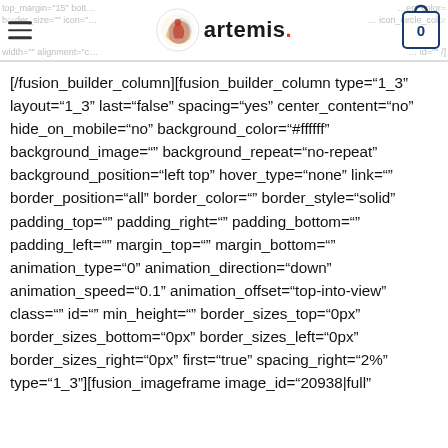artemis.
[/fusion_builder_column][fusion_builder_column type="1_3" layout="1_3" last="false" spacing="yes" center_content="no" hide_on_mobile="no" background_color="#ffffff" background_image="" background_repeat="no-repeat" background_position="left top" hover_type="none" link="" border_position="all" border_color="" border_style="solid" padding_top="" padding_right="" padding_bottom="" padding_left="" margin_top="" margin_bottom="" animation_type="0" animation_direction="down" animation_speed="0.1" animation_offset="top-into-view" class="" id="" min_height="" border_sizes_top="0px" border_sizes_bottom="0px" border_sizes_left="0px" border_sizes_right="0px" first="true" spacing_right="2%" type="1_3"][fusion_imageframe image_id="20938|full"